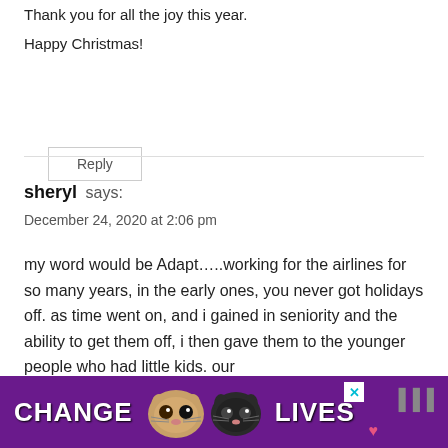Thank you for all the joy this year.
Happy Christmas!
Reply
sheryl says:
December 24, 2020 at 2:06 pm
my word would be Adapt…..working for the airlines for so many years, in the early ones, you never got holidays off. as time went on, and i gained in seniority and the ability to get them off, i then gave them to the younger people who had little kids. our fa[mily was made up of airline people, se[…]ld, so
[Figure (advertisement): Purple advertisement banner with cats, text reading CHANGE LIVES with a close X button and heart icon]